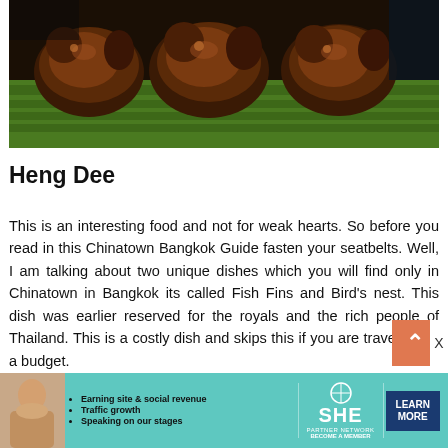[Figure (photo): Roasted ducks or similar poultry displayed on green banana leaves at a food stall in Chinatown Bangkok]
Heng Dee
This is an interesting food and not for weak hearts. So before you read in this Chinatown Bangkok Guide fasten your seatbelts. Well, I am talking about two unique dishes which you will find only in Chinatown in Bangkok its called Fish Fins and Bird's nest. This dish was earlier reserved for the royals and the rich people of Thailand. This is a costly dish and skips this if you are traveling on a budget.
[Figure (infographic): SHE Media Partner Network advertisement banner with woman photo, bullet points about earning site & social revenue, traffic growth, speaking on our stages, SHE Partner Network logo, and LEARN MORE button]